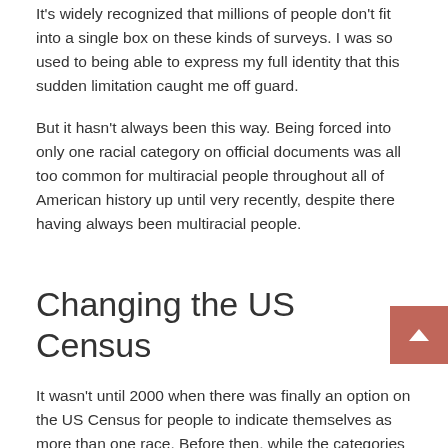It's widely recognized that millions of people don't fit into a single box on these kinds of surveys. I was so used to being able to express my full identity that this sudden limitation caught me off guard.
But it hasn't always been this way. Being forced into only one racial category on official documents was all too common for multiracial people throughout all of American history up until very recently, despite there having always been multiracial people.
Changing the US Census
It wasn't until 2000 when there was finally an option on the US Census for people to indicate themselves as more than one race. Before then, while the categories to choose from encompassed a diverse range of ethnic backgrounds, these confining boxes did not fit everyone perfectly.
The way the US census has recorded data on race over it's span